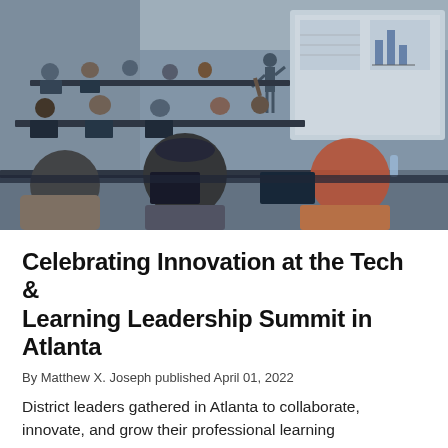[Figure (photo): A classroom or lecture hall setting showing participants seated at tiered desks with laptops, attending a Tech & Learning Leadership Summit. A presenter stands at the front near a large projection screen displaying a slide with data charts.]
Celebrating Innovation at the Tech & Learning Leadership Summit in Atlanta
By Matthew X. Joseph published April 01, 2022
District leaders gathered in Atlanta to collaborate, innovate, and grow their professional learning